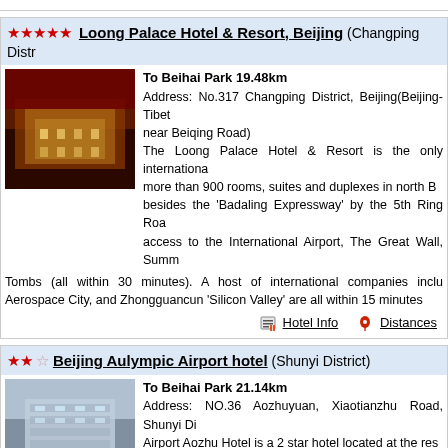★★★★★ Loong Palace Hotel & Resort, Beijing (Changping District)
To Beihai Park 19.48km
Address: No.317 Changping District, Beijing(Beijing-Tibet near Beiqing Road)
The Loong Palace Hotel & Resort is the only international more than 900 rooms, suites and duplexes in north B besides the 'Badaling Expressway' by the 5th Ring Road access to the International Airport, The Great Wall, Summ Tombs (all within 30 minutes). A host of international companies inclu Aerospace City, and Zhongguancun 'Silicon Valley' are all within 15 minutes
Hotel Info   Distances
★★☆ Beijing Aulympic Airport hotel (Shunyi District)
To Beihai Park 21.14km
Address: NO.36 Aozhuyuan, Xiaotianzhu Road, Shunyi Di Airport Aozhu Hotel is a 2 star hotel located at the res capital airport. As a business hotel, it has convenient tran location. 3km from Terminal 1 and 2, 15 minutes' driving fr from Beijing New International Exhibition and Conventio with sufficient transport facilities, the guests can enjoy fre reservation.
Hotel Info   Distances